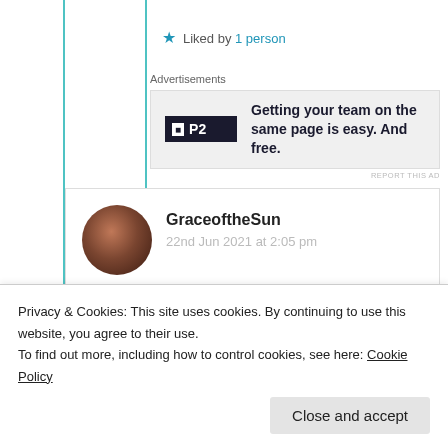★ Liked by 1 person
Advertisements
[Figure (other): P2 advertisement banner: Getting your team on the same page is easy. And free.]
GraceoftheSun
22nd Jun 2021 at 2:05 pm

Congratulations!!! I loved your answers, Suma and your stone work is absolutely beautiful. 💕
Privacy & Cookies: This site uses cookies. By continuing to use this website, you agree to their use.
To find out more, including how to control cookies, see here: Cookie Policy
Close and accept